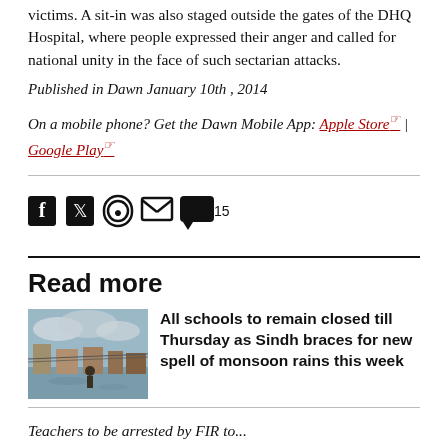victims. A sit-in was also staged outside the gates of the DHQ Hospital, where people expressed their anger and called for national unity in the face of such sectarian attacks.
Published in Dawn January 10th , 2014
On a mobile phone? Get the Dawn Mobile App: Apple Store | Google Play
[Figure (infographic): Social share bar with Facebook, Twitter, WhatsApp, email icons and comment count of 15]
Read more
[Figure (photo): Flooded street scene in Sindh city]
All schools to remain closed till Thursday as Sindh braces for new spell of monsoon rains this week
Teachers to be arrested by FIR...